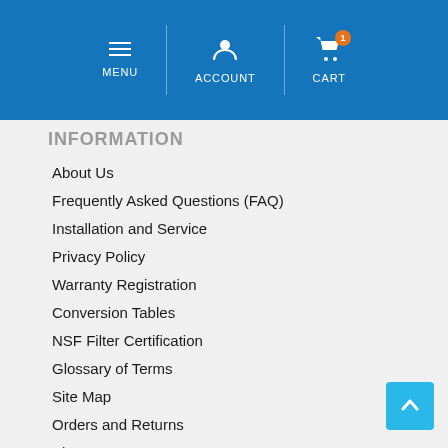MENU | ACCOUNT | CART
INFORMATION
About Us
Frequently Asked Questions (FAQ)
Installation and Service
Privacy Policy
Warranty Registration
Conversion Tables
NSF Filter Certification
Glossary of Terms
Site Map
Orders and Returns
Blog
Contact Us